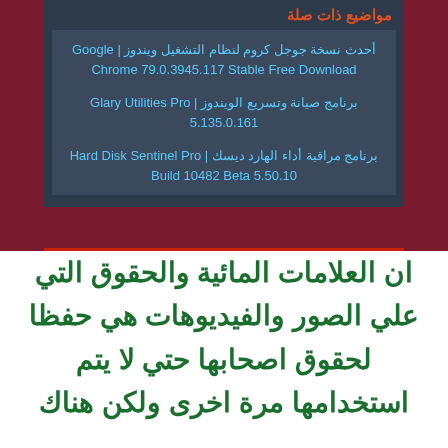مواضيع ذات صلة
أحدث نسخة جوجل كروم لنظام التشغيل ويندوز | Google Chrome 79.0.3945.117 Stable Free Download
برنامج صيانة وتسريع الويندوز | Glary Utilities Pro 5.135.0.161
برنامج مراقبة أداء الهارد ديسك | Hard Disk Sentinel Pro 5.50.10 Build 10482 Beta
ان العلامات المائية والحقوق التي علي الصور والفيديوهات هي حفظا لحقوق اصحابها حتي لا يتم استخدامها مرة اخرى ولكن هناك